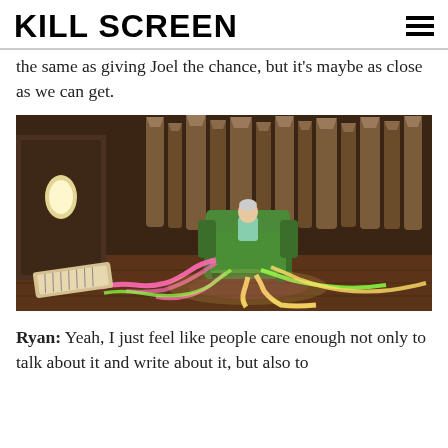KILL SCREEN
the same as giving Joel the chance, but it's maybe as close as we can get.
[Figure (screenshot): 3D rendered game scene showing a small figure sitting in a green armchair with glowing neon cables (pink, yellow, green) flowing from it onto a dark wooden floor. Behind the chair are tall pipe organ-like structures. A lit window panel is visible on the left wall. A keyboard/piano lies on the floor in the foreground left.]
Ryan: Yeah, I just feel like people care enough not only to talk about it and write about it, but also to